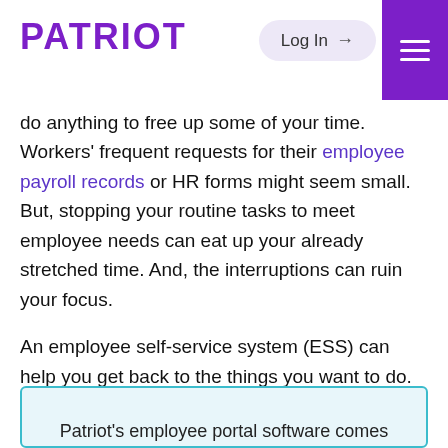PATRIOT | Log In | Menu
do anything to free up some of your time. Workers' frequent requests for their employee payroll records or HR forms might seem small. But, stopping your routine tasks to meet employee needs can eat up your already stretched time. And, the interruptions can ruin your focus.
An employee self-service system (ESS) can help you get back to the things you want to do. By using simple online software, employees won't bother you as much for payroll-related questions and tasks.
Patriot's employee portal software comes